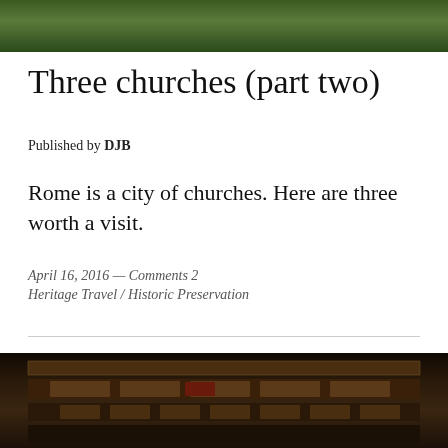[Figure (photo): Top photo showing green leafy foliage/ivy against a dark background]
Three churches (part two)
Published by DJB
Rome is a city of churches. Here are three worth a visit.
April 16, 2016 — Comments 2
Heritage Travel / Historic Preservation
[Figure (photo): Bottom photo showing ornate gilded ceiling of a church, with decorative carved wooden panels]